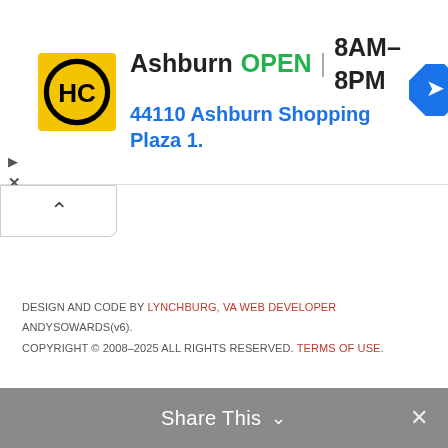[Figure (logo): HC logo — yellow square with black circle and HC letters, followed by Ashburn OPEN 8AM–8PM and address 44110 Ashburn Shopping Plaza 1., plus blue navigation diamond icon]
[Figure (other): Collapse/chevron-up button panel]
DESIGN AND CODE BY LYNCHBURG, VA WEB DEVELOPER ANDYSOWARDS(v6). COPYRIGHT © 2008–2025 ALL RIGHTS RESERVED. TERMS OF USE.
Share This